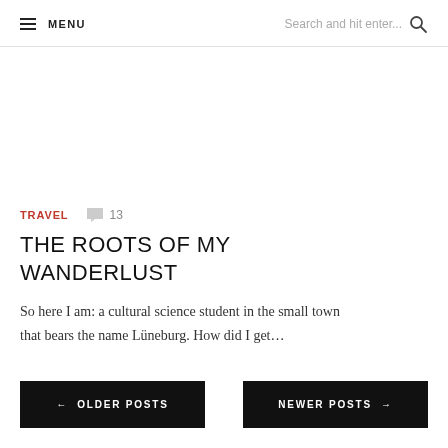MENU   Search and hit enter...
TRAVEL   💬 13
THE ROOTS OF MY WANDERLUST
So here I am: a cultural science student in the small town that bears the name Lüneburg. How did I get...
← OLDER POSTS
NEWER POSTS →